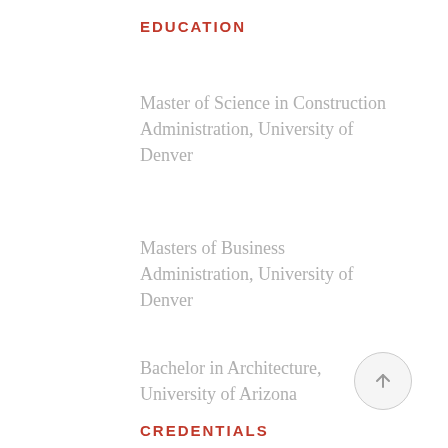EDUCATION
Master of Science in Construction Administration, University of Denver
Masters of Business Administration, University of Denver
Bachelor in Architecture, University of Arizona
CREDENTIALS